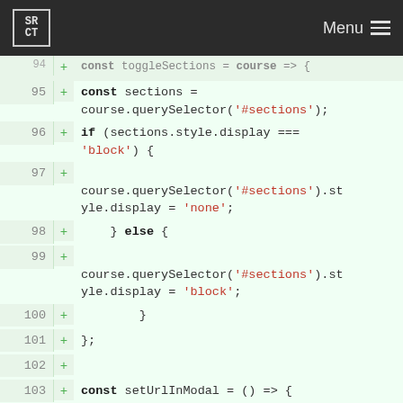SR CT  Menu
[Figure (screenshot): Code diff view showing JavaScript lines 95-104 with green '+' markers indicating additions. Code includes const sections, querySelector calls, if/else display toggle logic, and const setUrlInModal arrow function.]